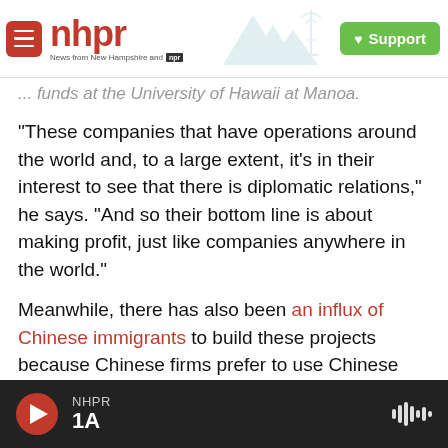nhpr — News from New Hampshire and NPR | Support
…funds at the University of Hawaii at Manoa.
"These companies that have operations around the world and, to a large extent, it's in their interest to see that there is diplomatic relations," he says. "And so their bottom line is about making profit, just like companies anywhere in the world."
Meanwhile, there has also been an influx of Chinese immigrants to build these projects because Chinese firms prefer to use Chinese labor — causing tensions over jobs and business practices across the Pacific region.
NHPR 1A